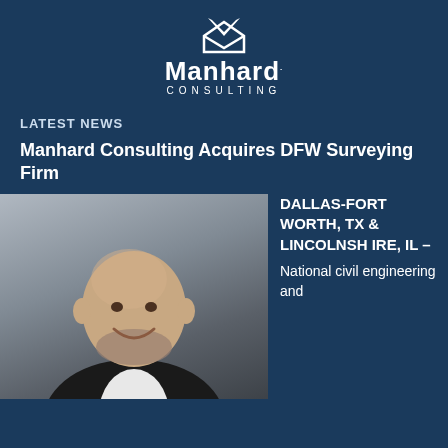[Figure (logo): Manhard Consulting logo: white M-shaped envelope icon above the text 'Manhard CONSULTING']
LATEST NEWS
Manhard Consulting Acquires DFW Surveying Firm
[Figure (photo): Headshot of a middle-aged bald man with a beard, wearing a dark blazer and white shirt, smiling, against a gray background]
DALLAS-FORT WORTH, TX & LINCOLNSHIRE, IL – National civil engineering and